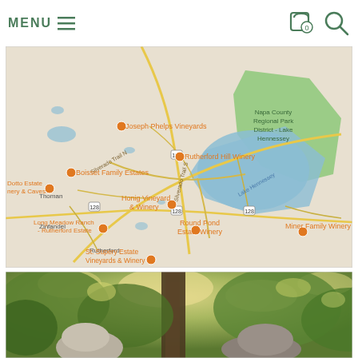MENU  (navigation bar with cart icon showing 0 items and search icon)
[Figure (map): Google Maps style map of Napa Valley wine country showing wineries: Joseph Phelps Vineyards, Rutherford Hill Winery, Boisset Family Estates, Dotto Estate Winery & Caves, Honig Vineyard & Winery, Long Meadow Ranch - Rutherford Estate, Round Pond Estate Winery, Miner Family Winery, St. Supery Estate Vineyards & Winery. Also shows Napa County Regional Park District - Lake Hennessey (green area) and Lake Hennessey (blue water body). Roads include Silverado Trail and Route 128.]
[Figure (photo): Outdoor photo showing two people from behind/side with trees with green and yellow foliage in the background.]